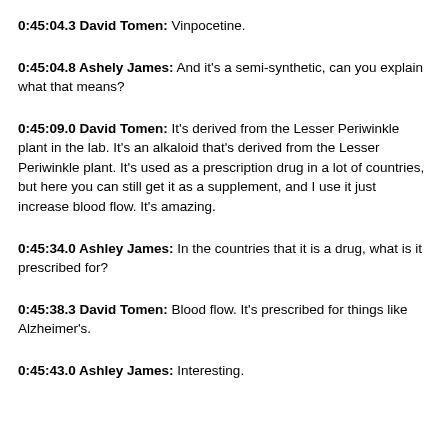0:45:04.3 David Tomen: Vinpocetine.
0:45:04.8 Ashely James: And it's a semi-synthetic, can you explain what that means?
0:45:09.0 David Tomen: It's derived from the Lesser Periwinkle plant in the lab. It's an alkaloid that's derived from the Lesser Periwinkle plant. It's used as a prescription drug in a lot of countries, but here you can still get it as a supplement, and I use it just increase blood flow. It's amazing.
0:45:34.0 Ashley James: In the countries that it is a drug, what is it prescribed for?
0:45:38.3 David Tomen: Blood flow. It's prescribed for things like Alzheimer's.
0:45:43.0 Ashley James: Interesting.